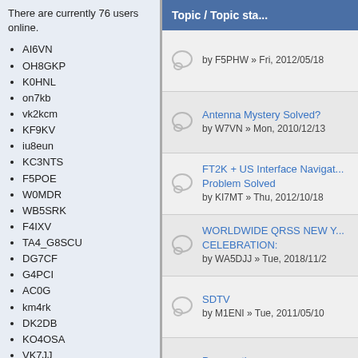There are currently 76 users online.
AI6VN
OH8GKP
K0HNL
on7kb
vk2kcm
KF9KV
iu8eun
KC3NTS
F5POE
W0MDR
WB5SRK
F4IXV
TA4_G8SCU
DG7CF
G4PCI
AC0G
km4rk
DK2DB
KO4OSA
VK7JJ
K0HW
DB1NN
VE7RVS
K6SCN
Topic / Topic sta...
by F5PHW » Fri, 2012/05/18
Antenna Mystery Solved?
by W7VN » Mon, 2010/12/13
FT2K + US Interface Navigat... Problem Solved
by KI7MT » Thu, 2012/10/18
WORLDWIDE QRSS NEW Y... CELEBRATION:
by WA5DJJ » Tue, 2018/11/2
SDTV
by M1ENI » Tue, 2011/05/10
Propagation map
by PA4JJ » Mon, 2010/04/26
Real Research using HAB. H... legal in Amateur Service